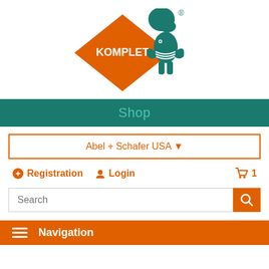[Figure (logo): Komplet brand logo: orange diamond with KOMPLET text and green chef/fish illustration with registered trademark symbol]
Shop
Abel + Schafer USA (dropdown selector)
Registration  Login  Cart 1
Search (search bar with search button)
Navigation